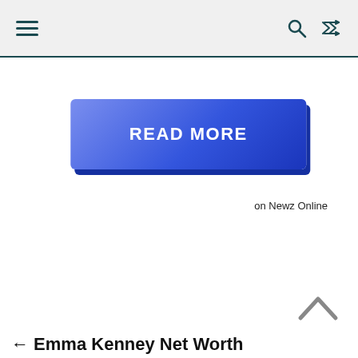Navigation bar with hamburger menu, search icon, and shuffle icon
[Figure (other): Blue gradient READ MORE button]
on Newz Online
[Figure (other): Back to top chevron arrow icon]
← Emma Kenney Net Worth